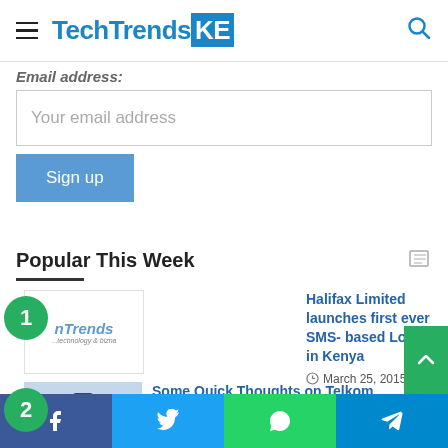TechTrendsKE
Email address:
Your email address
Sign up
Popular This Week
Halifax Limited launches first ever SMS- based Lottery in Kenya
March 25, 2015
Some Quick Thoughts on Telkom
Facebook  Twitter  WhatsApp  Telegram